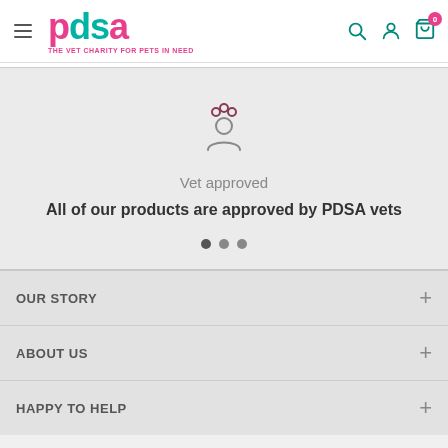PDSA - The Vet Charity for Pets in Need
[Figure (illustration): Vet approved icon: a person figure with small circles around the head suggesting expertise/approval]
Vet approved
All of our products are approved by PDSA vets
OUR STORY
ABOUT US
HAPPY TO HELP